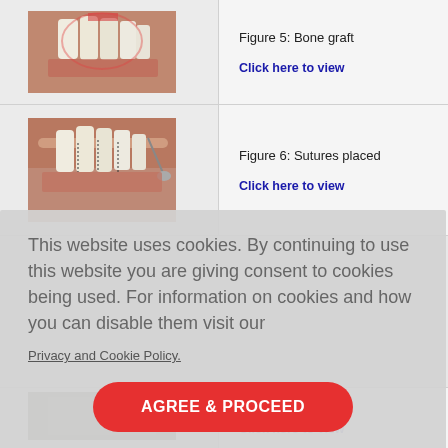[Figure (photo): Clinical dental photo showing bone graft procedure with teeth and gum tissue, blood visible]
Figure 5: Bone graft
Click here to view
[Figure (photo): Clinical dental photo showing sutures placed after procedure, dental instrument visible]
Figure 6: Sutures placed
Click here to view
This website uses cookies. By continuing to use this website you are giving consent to cookies being used. For information on cookies and how you can disable them visit our
Privacy and Cookie Policy.
AGREE & PROCEED
Follow-up 1 year
Click here to view